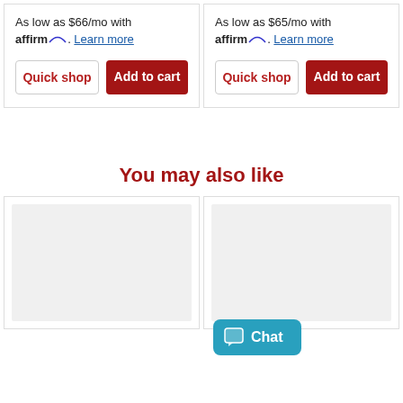As low as $66/mo with affirm. Learn more
Quick shop
Add to cart
As low as $65/mo with affirm. Learn more
Quick shop
Add to cart
You may also like
[Figure (other): Product image placeholder (light gray rectangle)]
[Figure (other): Product image placeholder (light gray rectangle) with Chat button overlay]
Chat